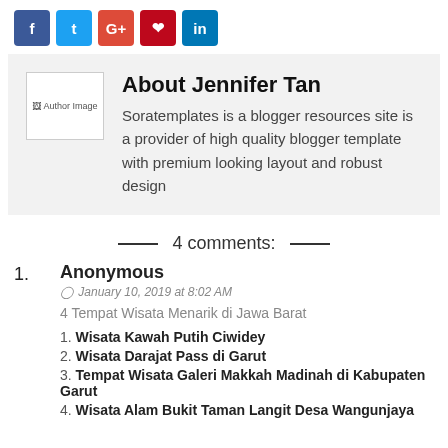[Figure (other): Social share buttons: Facebook (blue), Twitter (blue), Google+ (red), Pinterest (red), LinkedIn (blue)]
[Figure (other): Author bio box with placeholder image and text about Jennifer Tan. Soratemplates is a blogger resources site is a provider of high quality blogger template with premium looking layout and robust design]
4 comments:
Anonymous
January 10, 2019 at 8:02 AM
4 Tempat Wisata Menarik di Jawa Barat
1. Wisata Kawah Putih Ciwidey
2. Wisata Darajat Pass di Garut
3. Tempat Wisata Galeri Makkah Madinah di Kabupaten Garut
4. Wisata Alam Bukit Taman Langit Desa Wangunjaya